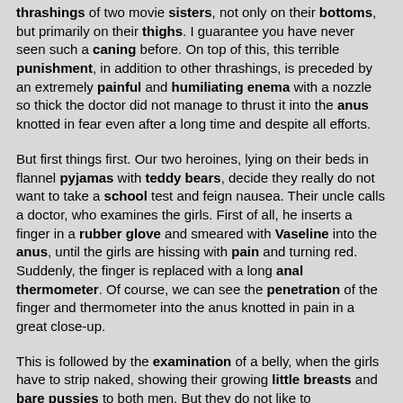thrashings of two movie sisters, not only on their bottoms, but primarily on their thighs. I guarantee you have never seen such a caning before. On top of this, this terrible punishment, in addition to other thrashings, is preceded by an extremely painful and humiliating enema with a nozzle so thick the doctor did not manage to thrust it into the anus knotted in fear even after a long time and despite all efforts.
But first things first. Our two heroines, lying on their beds in flannel pyjamas with teddy bears, decide they really do not want to take a school test and feign nausea. Their uncle calls a doctor, who examines the girls. First of all, he inserts a finger in a rubber glove and smeared with Vaseline into the anus, until the girls are hissing with pain and turning red. Suddenly, the finger is replaced with a long anal thermometer. Of course, we can see the penetration of the finger and thermometer into the anus knotted in pain in a great close-up.
This is followed by the examination of a belly, when the girls have to strip naked, showing their growing little breasts and bare pussies to both men. But they do not like to examination of the loins at all. Of course, the doctor finds out the girls are feigning illness, but he prolongs the examination and enjoys it. He then bemoans in front of the uncle. They decide to punish the girls, not making them know they have discovered their deception.